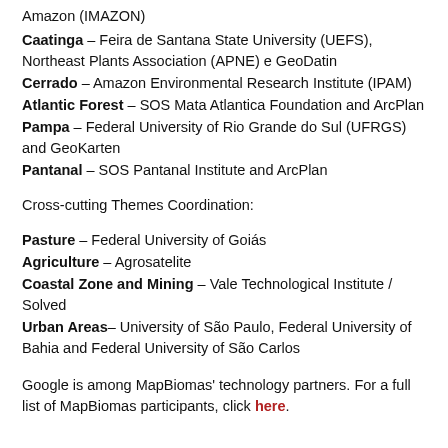Amazon (IMAZON)
Caatinga – Feira de Santana State University (UEFS), Northeast Plants Association (APNE) e GeoDatin
Cerrado – Amazon Environmental Research Institute (IPAM)
Atlantic Forest – SOS Mata Atlantica Foundation and ArcPlan
Pampa – Federal University of Rio Grande do Sul (UFRGS) and GeoKarten
Pantanal – SOS Pantanal Institute and ArcPlan
Cross-cutting Themes Coordination:
Pasture – Federal University of Goiás
Agriculture – Agrosatelite
Coastal Zone and Mining – Vale Technological Institute / Solved
Urban Areas– University of São Paulo, Federal University of Bahia and Federal University of São Carlos
Google is among MapBiomas' technology partners. For a full list of MapBiomas participants, click here.